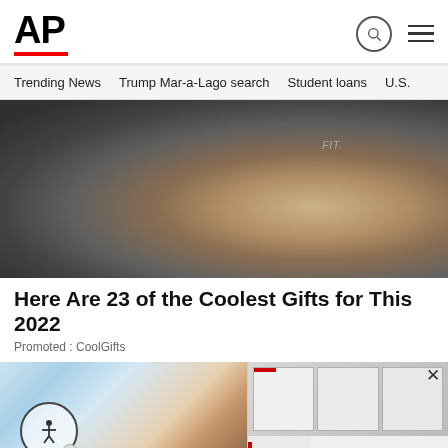AP
Trending News  Trump Mar-a-Lago search  Student loans  U.S.
[Figure (photo): Close-up of a thumb pressing on a dark electronic device with text 'FIT.' visible]
Here Are 23 of the Coolest Gifts for This 2022
Promoted : CoolGifts
[Figure (photo): Smiling woman with long brown hair against light blue background, with overlay showing document pages and Trump legal team story]
Trump legal team advances broad view of presidenti...